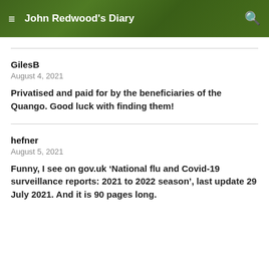John Redwood's Diary
GilesB
August 4, 2021
Privatised and paid for by the beneficiaries of the Quango. Good luck with finding them!
hefner
August 5, 2021
Funny, I see on gov.uk ‘National flu and Covid-19 surveillance reports: 2021 to 2022 season’, last update 29 July 2021. And it is 90 pages long.